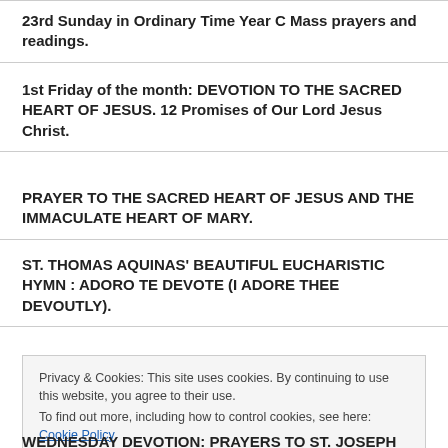23rd Sunday in Ordinary Time Year C Mass prayers and readings.
1st Friday of the month: DEVOTION TO THE SACRED HEART OF JESUS. 12 Promises of Our Lord Jesus Christ.
PRAYER TO THE SACRED HEART OF JESUS AND THE IMMACULATE HEART OF MARY.
ST. THOMAS AQUINAS' BEAUTIFUL EUCHARISTIC HYMN : ADORO TE DEVOTE (I ADORE THEE DEVOUTLY).
Privacy & Cookies: This site uses cookies. By continuing to use this website, you agree to their use.
To find out more, including how to control cookies, see here: Cookie Policy
WEDNESDAY DEVOTION: PRAYERS TO ST. JOSEPH